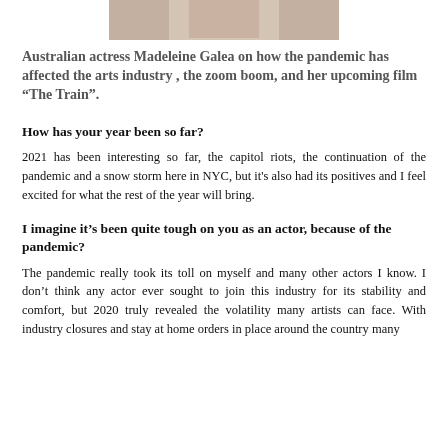[Figure (photo): Cropped photo of Madeleine Galea, showing part of her clothing/torso area]
Australian actress Madeleine Galea on how the pandemic has affected the arts industry , the zoom boom, and her upcoming film “The Train”.
How has your year been so far?
2021 has been interesting so far, the capitol riots, the continuation of the pandemic and a snow storm here in NYC, but it's also had its positives and I feel excited for what the rest of the year will bring.
I imagine it’s been quite tough on you as an actor, because of the pandemic?
The pandemic really took its toll on myself and many other actors I know. I don’t think any actor ever sought to join this industry for its stability and comfort, but 2020 truly revealed the volatility many artists can face. With industry closures and stay at home orders in place around the country many